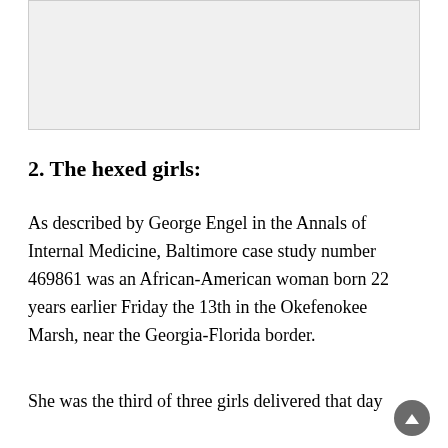[Figure (other): A light gray rectangular image/photo placeholder at the top of the page]
2. The hexed girls:
As described by George Engel in the Annals of Internal Medicine, Baltimore case study number 469861 was an African-American woman born 22 years earlier Friday the 13th in the Okefenokee Marsh, near the Georgia-Florida border.
She was the third of three girls delivered that day